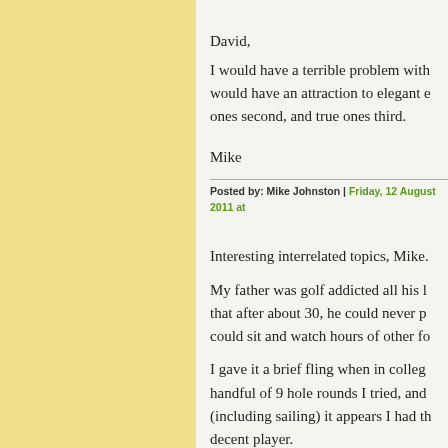David,
I would have a terrible problem with would have an attraction to elegant e ones second, and true ones third.
Mike
Posted by: Mike Johnston | Friday, 12 August 2011 at
Interesting interrelated topics, Mike.
My father was golf addicted all his l that after about 30, he could never p could sit and watch hours of other fo
I gave it a brief fling when in colleg handful of 9 hole rounds I tried, and (including sailing) it appears I had th decent player.